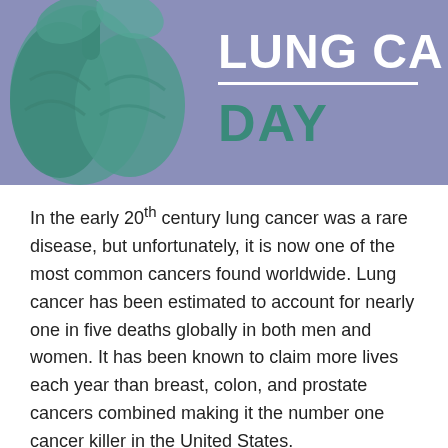[Figure (illustration): Header banner with muted purple/blue background showing a stylized green lung illustration on the left and 'LUNG CA' and 'DAY' text on the right in white and teal.]
In the early 20th century lung cancer was a rare disease, but unfortunately, it is now one of the most common cancers found worldwide. Lung cancer has been estimated to account for nearly one in five deaths globally in both men and women. It has been known to claim more lives each year than breast, colon, and prostate cancers combined making it the number one cancer killer in the United States.
In 2012 there were 1.8 million diagnosed cases of lung cancer which is the reason "World Lung